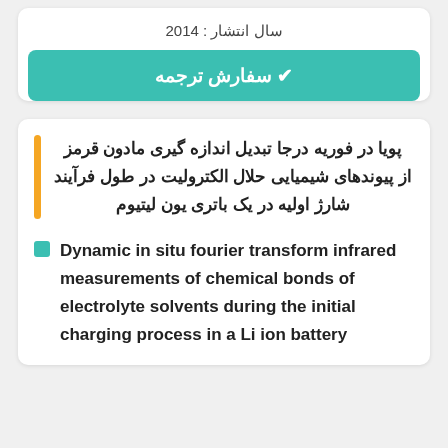سال انتشار : 2014
✔ سفارش ترجمه
پویا در فوریه درجا تبدیل اندازه گیری مادون قرمز از پیوندهای شیمیایی حلال الکترولیت در طول فرآیند شارژ اولیه در یک باتری یون لیتیوم
Dynamic in situ fourier transform infrared measurements of chemical bonds of electrolyte solvents during the initial charging process in a Li ion battery